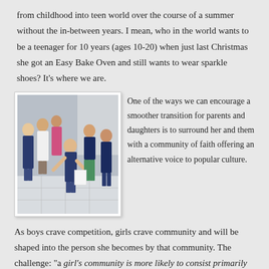from childhood into teen world over the course of a summer without the in-between years. I mean, who in the world wants to be a teenager for 10 years (ages 10-20) when just last Christmas she got an Easy Bake Oven and still wants to wear sparkle shoes? It's where we are.
[Figure (photo): Group of young girls posing together indoors, some in navy blue clothing, on a tiled floor. One girl is leaning back playfully.]
One of the ways we can encourage a smoother transition for parents and daughters is to surround her and them with a community of faith offering an alternative voice to popular culture.
As boys crave competition, girls crave community and will be shaped into the person she becomes by that community. The challenge: "a girl's community is more likely to consist primarily of girls her own age." (pg